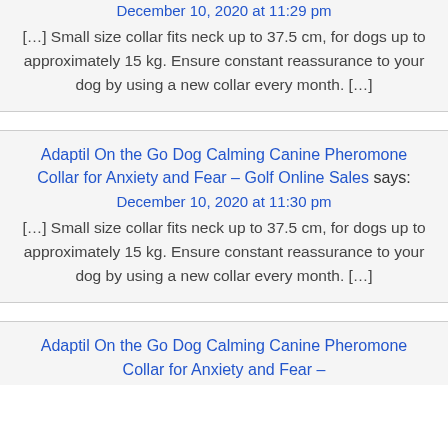December 10, 2020 at 11:29 pm
[…] Small size collar fits neck up to 37.5 cm, for dogs up to approximately 15 kg. Ensure constant reassurance to your dog by using a new collar every month. […]
Adaptil On the Go Dog Calming Canine Pheromone Collar for Anxiety and Fear – Golf Online Sales says:
December 10, 2020 at 11:30 pm
[…] Small size collar fits neck up to 37.5 cm, for dogs up to approximately 15 kg. Ensure constant reassurance to your dog by using a new collar every month. […]
Adaptil On the Go Dog Calming Canine Pheromone Collar for Anxiety and Fear –